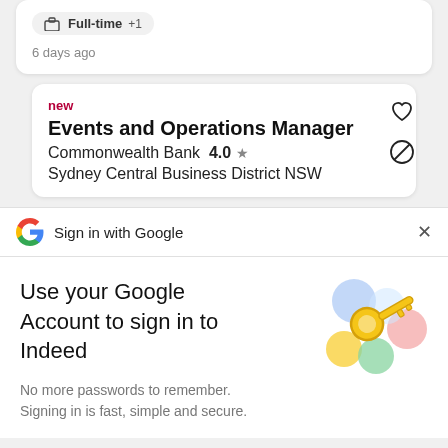Full-time +1
6 days ago
new
Events and Operations Manager
Commonwealth Bank  4.0 ★
Sydney Central Business District NSW
Sign in with Google
Use your Google Account to sign in to Indeed
No more passwords to remember. Signing in is fast, simple and secure.
[Figure (illustration): Google keys illustration with colorful circles]
Continue